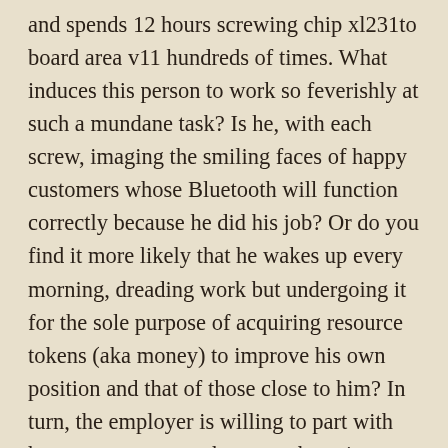and spends 12 hours screwing chip xl231to board area v11 hundreds of times. What induces this person to work so feverishly at such a mundane task? Is he, with each screw, imaging the smiling faces of happy customers whose Bluetooth will function correctly because he did his job? Or do you find it more likely that he wakes up every morning, dreading work but undergoing it for the sole purpose of acquiring resource tokens (aka money) to improve his own position and that of those close to him? In turn, the employer is willing to part with her own money, not because she enjoys seeing that worker's smiling face each morning but instead because without the vital screw, the phone would lose more